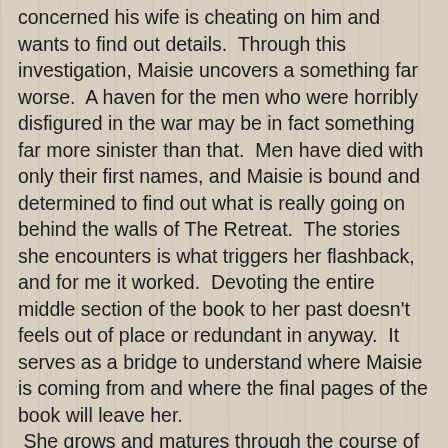concerned his wife is cheating on him and wants to find out details.  Through this investigation, Maisie uncovers a something far worse.  A haven for the men who were horribly disfigured in the war may be in fact something far more sinister than that.  Men have died with only their first names, and Maisie is bound and determined to find out what is really going on behind the walls of The Retreat.  The stories she encounters is what triggers her flashback, and for me it worked.  Devoting the entire middle section of the book to her past doesn't feels out of place or redundant in anyway.  It serves as a bridge to understand where Maisie is coming from and where the final pages of the book will leave her.  She grows and matures through the course of narrative and finally comes to terms with the horrific loss she has been running from since the war.
I would like to thank Trish of TLC Book Tours for the wonderful opportunity to read and review these books.  Please visit the tour page to read reviews of this book and the rest of the books in the series since the entire month of March is being devoted to them.